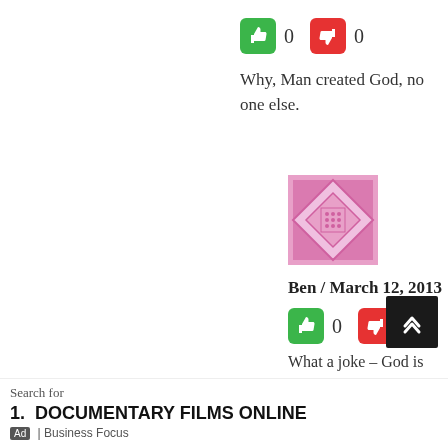[Figure (infographic): Vote buttons row: green thumbs-up icon with count 0, red thumbs-down icon with count 0]
Why, Man created God, no one else.
[Figure (illustration): Pink geometric avatar image with diamond/triangle patterns]
Ben / March 12, 2013
[Figure (infographic): Vote buttons row: green thumbs-up icon with count 0, red thumbs-down icon with count 0]
What a joke – God is any invisible force behind us according to several religions. They do believe man is created by god, not the other way around.
[Figure (infographic): Ad bar at bottom with search prompt, DOCUMENTARY FILMS ONLINE listing, Business Focus label]
[Figure (infographic): Scroll-to-top dark button with double chevron up arrow in bottom right]